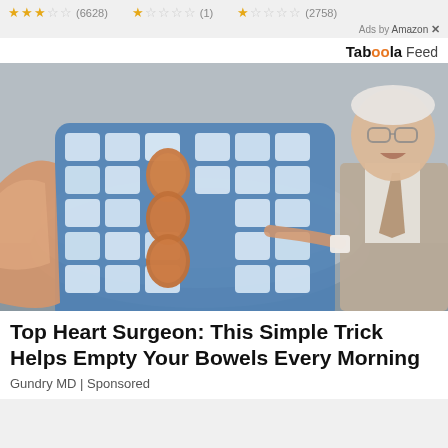★★★☆☆ (6628)   ★☆☆☆☆ (1)   ★☆☆☆☆ (2758)
Ads by Amazon ✕
Taboola Feed
[Figure (photo): A person holding up an ice cube tray with eggs placed in it, and an older man in a suit pointing at it on the right side.]
Top Heart Surgeon: This Simple Trick Helps Empty Your Bowels Every Morning
Gundry MD | Sponsored